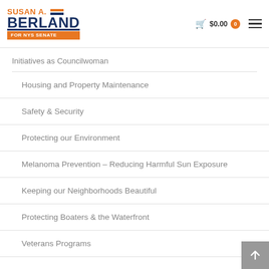SUSAN A. BERLAND FOR NYS SENATE — $0.00 0
Initiatives as Councilwoman
Housing and Property Maintenance
Safety & Security
Protecting our Environment
Melanoma Prevention – Reducing Harmful Sun Exposure
Keeping our Neighborhoods Beautiful
Protecting Boaters & the Waterfront
Veterans Programs